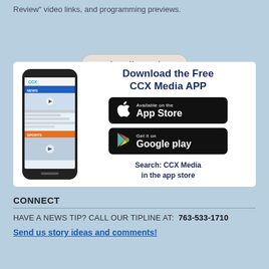Review” video links, and programming previews.
Subscribe Today
[Figure (infographic): Download the Free CCX Media APP advertisement showing a smartphone with the CCX Media app, App Store button, Google Play button, and search instructions.]
CONNECT
HAVE A NEWS TIP? CALL OUR TIPLINE AT:  763-533-1710
Send us story ideas and comments!